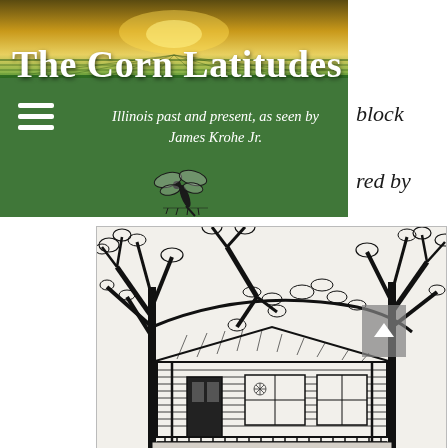[Figure (illustration): Book cover / webpage header for 'The Corn Latitudes' by James Krohe Jr. Top portion shows a green-tinted overlay on a farm field photo with rows of crops and a golden sunrise sky. Large white serif title text reads 'The Corn Latitudes'. Below it italic white text reads 'Illinois past and present, as seen by James Krohe Jr.' A dragonfly illustration appears in the center of the green section. A hamburger menu icon appears on the left. Partially visible italic text on the right reads partial words ending in 'block', 'red by', 'laudia', 'owling'. The lower half shows a black-and-white pen illustration of a house with bare trees framing it, with decorative foliage details.]